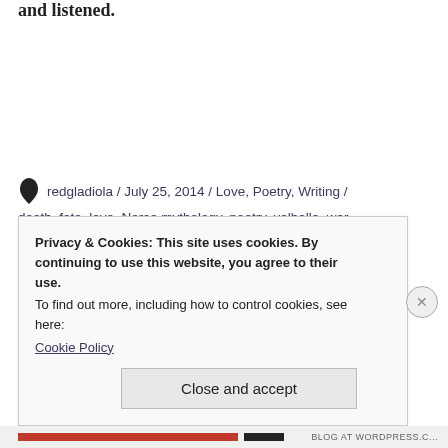and listened.
redgladiola / July 25, 2014 / Love, Poetry, Writing / death, fate, love, Norse mythology, poetry, valhalla, war, writing / 6 Comments
Privacy & Cookies: This site uses cookies. By continuing to use this website, you agree to their use.
To find out more, including how to control cookies, see here:
Cookie Policy
Close and accept